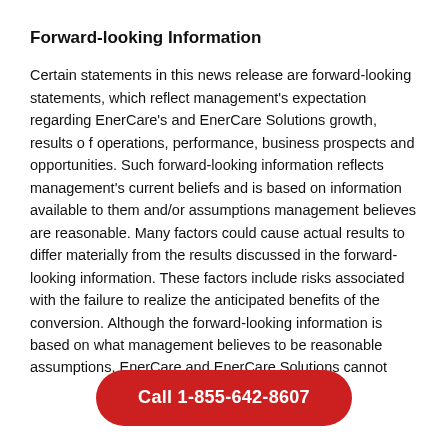Forward-looking Information
Certain statements in this news release are forward-looking statements, which reflect management's expectation regarding EnerCare's and EnerCare Solutions growth, results o f operations, performance, business prospects and opportunities. Such forward-looking information reflects management's current beliefs and is based on information available to them and/or assumptions management believes are reasonable. Many factors could cause actual results to differ materially from the results discussed in the forward-looking information. These factors include risks associated with the failure to realize the anticipated benefits of the conversion. Although the forward-looking information is based on what management believes to be reasonable assumptions, EnerCare and EnerCare Solutions cannot
Call 1-855-642-8607